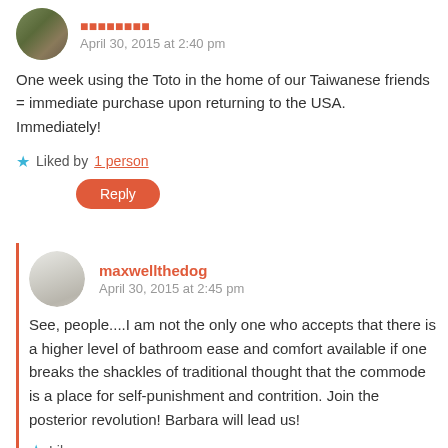[Figure (photo): Circular avatar photo of a person outdoors]
April 30, 2015 at 2:40 pm
One week using the Toto in the home of our Taiwanese friends = immediate purchase upon returning to the USA. Immediately!
★ Liked by 1 person
Reply
[Figure (photo): Circular avatar photo of a small white dog (maxwellthedog)]
maxwellthedog
April 30, 2015 at 2:45 pm
See, people....I am not the only one who accepts that there is a higher level of bathroom ease and comfort available if one breaks the shackles of traditional thought that the commode is a place for self-punishment and contrition. Join the posterior revolution! Barbara will lead us!
★ Like
Reply